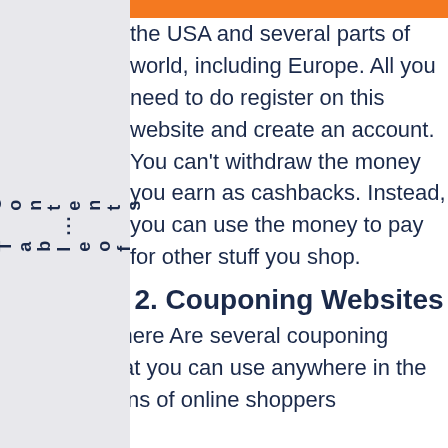Table of Contents
the USA and several parts of world, including Europe. All you need to do is register on this website and create an account. You can't withdraw the money you earn as cashbacks. Instead, you can use the money to pay for other stuff you shop.
2.  Couponing Websites
Millions of online shoppers around the world miss out on amazing discounts and rebates because they don't use discount codes and coupons. There Are several couponing websites that you can use anywhere in the world. Millions of online shoppers worldwide